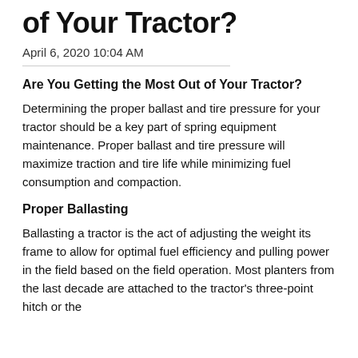of Your Tractor?
April 6, 2020 10:04 AM
Are You Getting the Most Out of Your Tractor?
Determining the proper ballast and tire pressure for your tractor should be a key part of spring equipment maintenance. Proper ballast and tire pressure will maximize traction and tire life while minimizing fuel consumption and compaction.
Proper Ballasting
Ballasting a tractor is the act of adjusting the weight its frame to allow for optimal fuel efficiency and pulling power in the field based on the field operation. Most planters from the last decade are attached to the tractor's three-point hitch or the